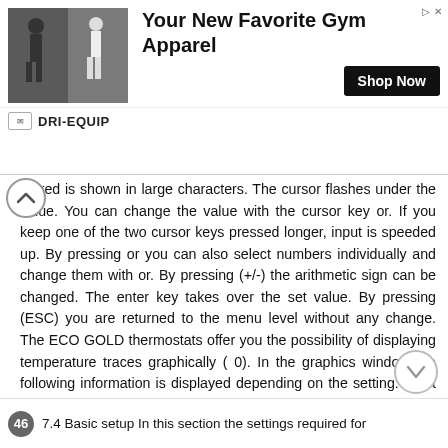[Figure (infographic): Advertisement banner for DRI-EQUIP gym apparel showing two athletes, headline 'Your New Favorite Gym Apparel', a 'Shop Now' button, and the DRI-EQUIP brand name.]
ntered is shown in large characters. The cursor flashes under the value. You can change the value with the cursor key or. If you keep one of the two cursor keys pressed longer, input is speeded up. By pressing or you can also select numbers individually and change them with or. By pressing (+/-) the arithmetic sign can be changed. The enter key takes over the set value. By pressing (ESC) you are returned to the menu level without any change. The ECO GOLD thermostats offer you the possibility of displaying temperature traces graphically ( 0). In the graphics window the following information is displayed depending on the setting: T set set-point temperature (red) T int internal bath temperature (green) T ext Temperature on the external consumer, external temperature sensor (blue). Display 0 Menu Standby 25/08/2011/ YACE0088 Operation 45
7.4 Basic setup In this section the settings required for